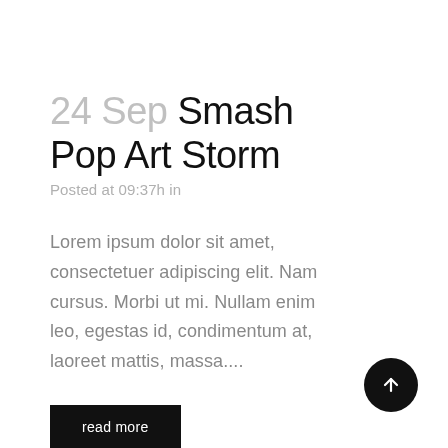24 Sep Smash Pop Art Storm
Posted at 09:37h in
Lorem ipsum dolor sit amet, consectetuer adipiscing elit. Nam cursus. Morbi ut mi. Nullam enim leo, egestas id, condimentum at, laoreet mattis, massa....
read more